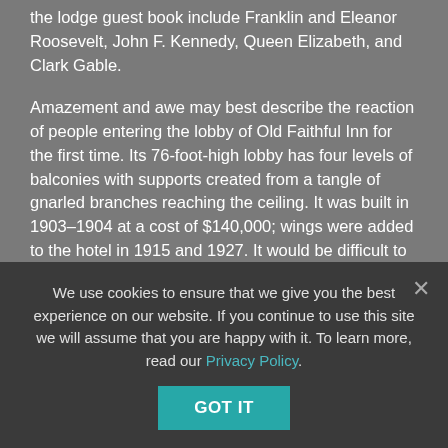the lodge guest book include Franklin and Eleanor Roosevelt, John F. Kennedy, Queen Elizabeth, and Clark Gable.
Amazement and awe may best describe the reaction of people entering the lobby of Old Faithful Inn for the first time. Its 76-foot-high lobby has four levels of balconies with supports created from a tangle of gnarled branches reaching the ceiling. It was built in 1903–1904 at a cost of $140,000; wings were added to the hotel in 1915 and 1927. It would be difficult to duplicate the inn's construction today, as cutting down trees, gathering wood, and quarrying rock inside the park are now illegal.
The park's most famous geyser, Old Faithful, is less than 100 yards from the inn. Approximate times for its eruptions are posted in the lobby.
We use cookies to ensure that we give you the best experience on our website. If you continue to use this site we will assume that you are happy with it. To learn more, read our Privacy Policy.
GOT IT